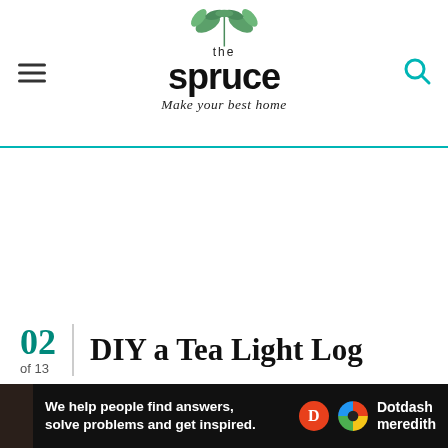the spruce - Make your best home
02 of 13 | DIY a Tea Light Log
[Figure (photo): Partial view of a wooden cabinet or log craft item in warm brown tones, with a dark left edge]
We help people find answers, solve problems and get inspired. Dotdash meredith